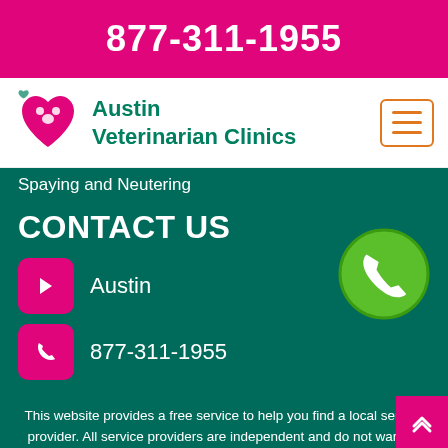877-311-1955
[Figure (logo): Austin Veterinarian Clinics logo with heart and paw icon in teal/magenta]
Spaying and Neutering
CONTACT US
Austin
877-311-1955
This website provides a free service to help you find a local service provider. All service providers are independent and do not warrant or guarantee any service performed. It is your responsibility to verify that the hired provider furnishes the necessary license and insurance required for the work being performed. All people and pets on on this website are actors